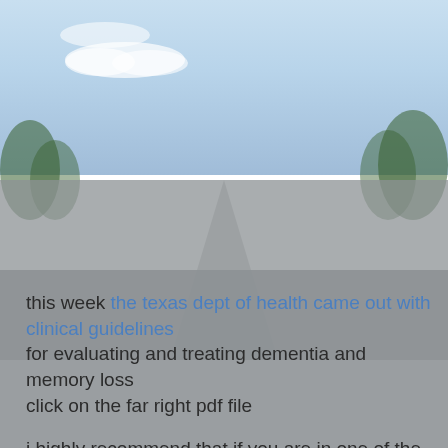[Figure (photo): Background photo of a road with sky, clouds, and trees on either side, overlaid with a grey semi-transparent layer in the lower half]
this week the texas dept of health came out with clinical guidelines for evaluating and treating dementia and memory loss click on the far right pdf file

i highly recommend that if you are in one of the categories above that you take your time and read through the new guidelines

eg if you have a parent or a spouse who has gone to their doctor to be evaluated for memory loss then work your way through these new guidelines to be sure that a complete evaluation has been done